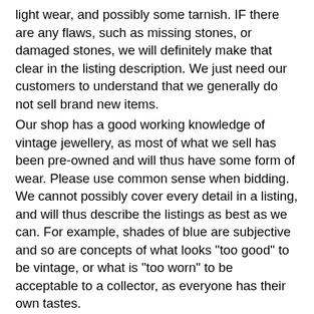light wear, and possibly some tarnish. IF there are any flaws, such as missing stones, or damaged stones, we will definitely make that clear in the listing description. We just need our customers to understand that we generally do not sell brand new items.
Our shop has a good working knowledge of vintage jewellery, as most of what we sell has been pre-owned and will thus have some form of wear. Please use common sense when bidding. We cannot possibly cover every detail in a listing, and will thus describe the listings as best as we can. For example, shades of blue are subjective and so are concepts of what looks "too good" to be vintage, or what is "too worn" to be acceptable to a collector, as everyone has their own tastes.
If you have specific needs, do your part, and contact me.
We do not normally clean many of our vintage items as most antique jewellery collectors and enthusiasts prefer that they are kept with the integrity of the piece and patina that occurs naturally over time. This particular piece was gently cleaned with a soft cloth. No harsh chemicals were used to clean this piece.